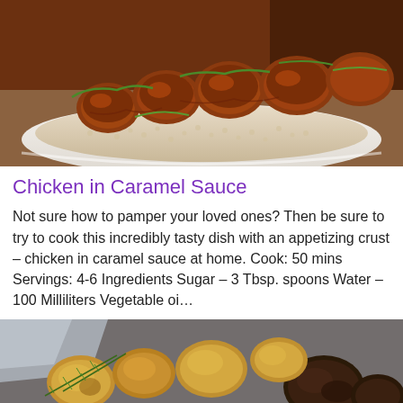[Figure (photo): Close-up photo of chicken pieces in caramel sauce served over white rice or grain, garnished with sliced green onions on a white plate.]
Chicken in Caramel Sauce
Not sure how to pamper your loved ones? Then be sure to try to cook this incredibly tasty dish with an appetizing crust – chicken in caramel sauce at home. Cook: 50 mins Servings: 4-6 Ingredients Sugar – 3 Tbsp. spoons Water – 100 Milliliters Vegetable oi…
[Figure (photo): Photo of roasted potatoes and other vegetables with rosemary herbs on a baking tray, partially visible at the bottom of the page.]